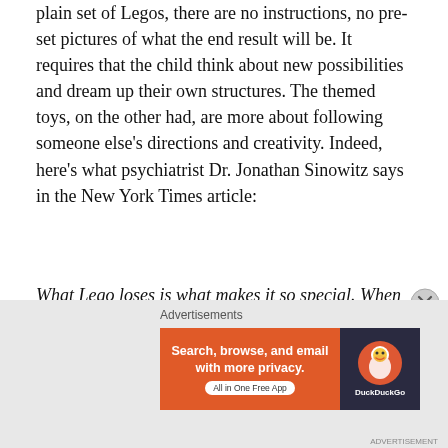plain set of Legos, there are no instructions, no pre-set pictures of what the end result will be. It requires that the child think about new possibilities and dream up their own structures. The themed toys, on the other had, are more about following someone else's directions and creativity. Indeed, here's what psychiatrist Dr. Jonathan Sinowitz says in the New York Times article:
What Lego loses is what makes it so special. When you have a less structured, less themed set, kids have the ability to start from scratch. When you have kids playing out Indiana Jones, they're playing out Hollywood's imagination, not their own.
[Figure (screenshot): DuckDuckGo advertisement banner: orange left panel with text 'Search, browse, and email with more privacy. All in One Free App' and dark right panel with DuckDuckGo duck logo]
ADVERTISEMENT